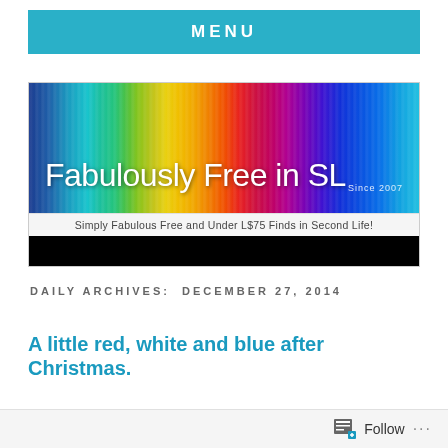MENU
[Figure (illustration): Fabulously Free in SL blog banner with rainbow gradient vertical stripes background. White text reads 'Fabulously Free in SL' with 'Since 2007' in smaller text. Subtitle: 'Simply Fabulous Free and Under L$75 Finds in Second Life!' with a black navigation bar below.]
DAILY ARCHIVES: DECEMBER 27, 2014
A little red, white and blue after Christmas.